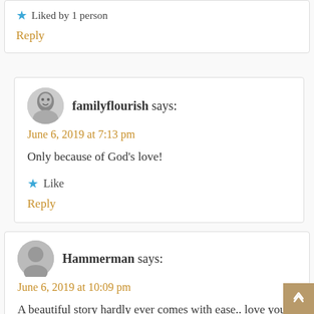★ Liked by 1 person
Reply
familyflourish says:
June 6, 2019 at 7:13 pm
Only because of God's love!
★ Like
Reply
Hammerman says:
June 6, 2019 at 10:09 pm
A beautiful story hardly ever comes with ease.. love your honesty in how hard this was yet how